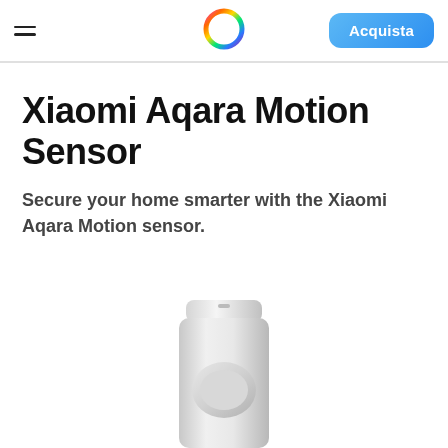Acquista
Xiaomi Aqara Motion Sensor
Secure your home smarter with the Xiaomi Aqara Motion sensor.
[Figure (photo): Xiaomi Aqara Motion Sensor device — a white plastic cylindrical motion sensor with a rounded base and dome-shaped front, partially visible at the bottom of the page.]